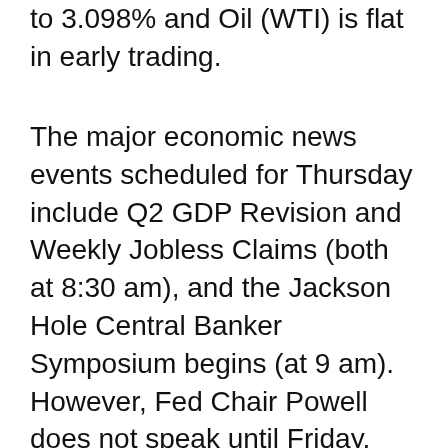to 3.098% and Oil (WTI) is flat in early trading.
The major economic news events scheduled for Thursday include Q2 GDP Revision and Weekly Jobless Claims (both at 8:30 am), and the Jackson Hole Central Banker Symposium begins (at 9 am). However, Fed Chair Powell does not speak until Friday. The major earnings reports scheduled for the day include ANF, BURL, CM, COTY, DG, DLTR, GFI, GOGL, HAIN, PTON, and TD before the open. Then, after the close, DELL, FTCH, GPS, MRVL, ULTA, VMW, and WDAY report.